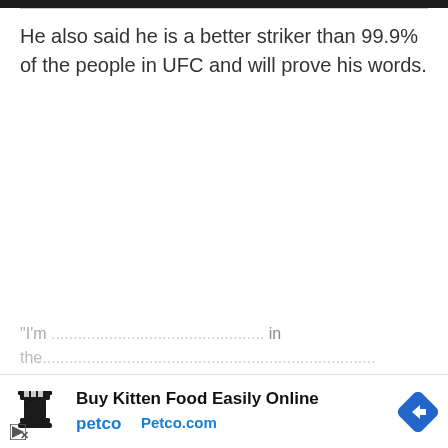He also said he is a better striker than 99.9% of the people in UFC and will prove his words.
[Figure (infographic): Petco advertisement banner: Buy Kitten Food Easily Online - Petco.com, with Petco logo (chess piece icon in red/dark), play button icon, close/X icon, and a blue diamond navigation arrow icon on the right.]